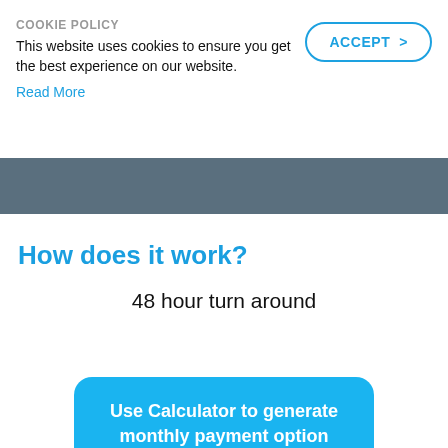COOKIE POLICY
This website uses cookies to ensure you get the best experience on our website.
Read More
ACCEPT >
How does it work?
48 hour turn around
Use Calculator to generate monthly payment option